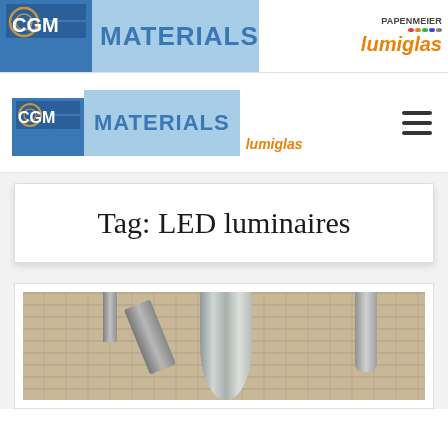[Figure (logo): CGM Materials top banner with Papenmeier Lumiglas logo on right]
[Figure (logo): CGM Materials navigation bar logo with lumiglas and hamburger menu]
Tag: LED luminaires
[Figure (photo): Industrial ceiling with metal ductwork and brick wall background]